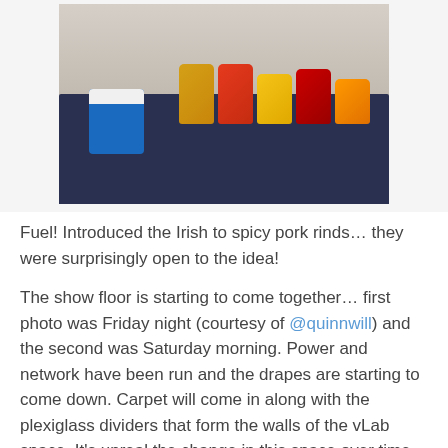[Figure (photo): A table covered with a dark blue cloth holding various bags of chips and snacks. A blue cooler with a white lid is visible on the left side. The setting appears to be an event or conference space.]
Fuel!  Introduced the Irish to spicy pork rinds… they were surprisingly open to the idea!
The show floor is starting to come together… first photo was Friday night (courtesy of @quinnwill) and the second was Saturday morning.  Power and network have been run and the drapes are starting to come down.  Carpet will come in along with the plexiglass dividers that form the walls of the vLab space.  It's unreal the change in this space over time and the logistics companies do this almost every